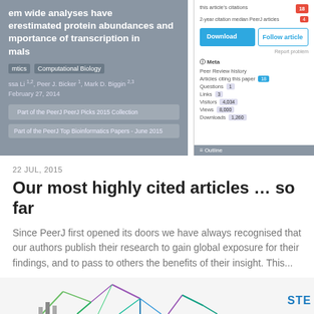[Figure (screenshot): Screenshot of a PeerJ article page showing a paper about protein abundances and transcription, with metadata sidebar showing download button, follow article button, citations (18), visitors (4,034), views (8,000), downloads (1,260), and an outline bar.]
22 JUL, 2015
Our most highly cited articles … so far
Since PeerJ first opened its doors we have always recognised that our authors publish their research to gain global exposure for their findings, and to pass to others the benefits of their insight. This...
[Figure (illustration): Partial bottom strip showing colorful network/graph diagrams and 'STE' text label in blue.]